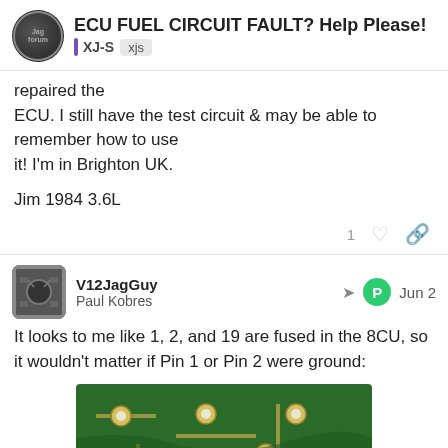ECU FUEL CIRCUIT FAULT? Help Please!
XJ-S   xjs
repaired the ECU. I still have the test circuit & may be able to remember how to use it! I'm in Brighton UK.

Jim 1984 3.6L
V12JagGuy
Paul Kobres
Jun 2
It looks to me like 1, 2, and 19 are fused in the 8CU, so it wouldn't matter if Pin 1 or Pin 2 were ground:
[Figure (photo): Close-up photo of a green circuit board showing solder points and copper traces]
15 / 49